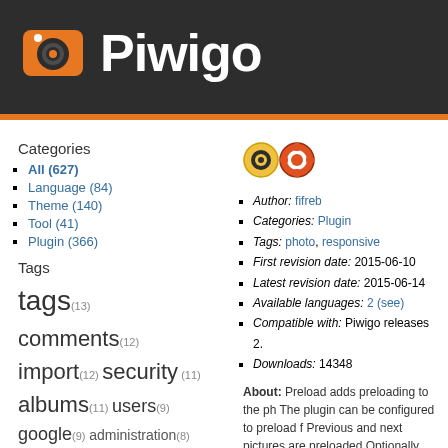Piwigo
Categories
All (627)
Language (84)
Theme (140)
Tool (41)
Plugin (366)
Tags
tags (13) comments (12) import (12) security (11) albums (11) users (9) google (9) administration (8) download (8) menus (8) + more
Search
Version
[Figure (logo): Plugin icons: yellow circle icon and orange lifesaver icon]
Author: fifreb
Categories: Plugin
Tags: photo, responsive
First revision date: 2015-06-10
Latest revision date: 2015-06-14
Available languages: 2 (see)
Compatible with: Piwigo releases 2.
Downloads: 14348
About: Preload adds preloading to the ph The plugin can be configured to preload f Previous and next pictures are preloaded Optionally, you can preload the square th
The Preload plugin is integrated with the - Automatic Size: Preload will preload the currently selected size will be used. - Fotorama: Preload will disable itself whe
Revision list